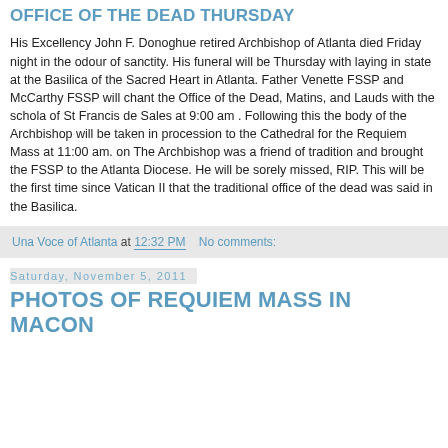OFFICE OF THE DEAD THURSDAY
His Excellency John F. Donoghue retired Archbishop of Atlanta died Friday night in the odour of sanctity. His funeral will be Thursday with laying in state at the Basilica of the Sacred Heart in Atlanta. Father Venette FSSP and McCarthy FSSP will chant the Office of the Dead, Matins, and Lauds with the schola of St Francis de Sales at 9:00 am . Following this the body of the Archbishop will be taken in procession to the Cathedral for the Requiem Mass at 11:00 am. on The Archbishop was a friend of tradition and brought the FSSP to the Atlanta Diocese. He will be sorely missed, RIP. This will be the first time since Vatican II that the traditional office of the dead was said in the Basilica.
Una Voce of Atlanta at 12:32 PM    No comments:
Saturday, November 5, 2011
PHOTOS OF REQUIEM MASS IN MACON